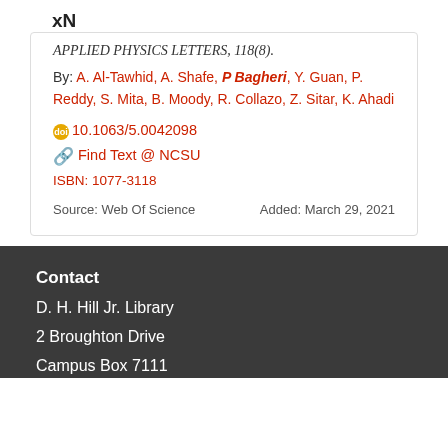xN
APPLIED PHYSICS LETTERS, 118(8).
By: A. Al-Tawhid, A. Shafe, P Bagheri, Y. Guan, P. Reddy, S. Mita, B. Moody, R. Collazo, Z. Sitar, K. Ahadi
10.1063/5.0042098
Find Text @ NCSU
ISBN: 1077-3118
Source: Web Of Science
Added: March 29, 2021
Contact
D. H. Hill Jr. Library
2 Broughton Drive
Campus Box 7111